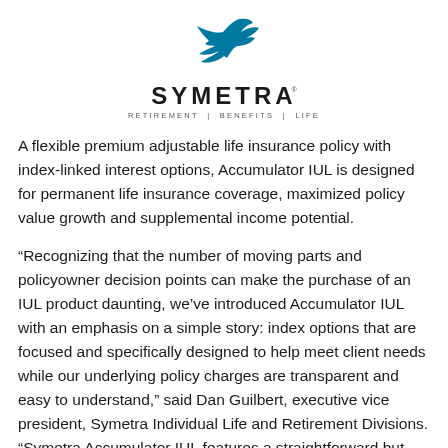[Figure (logo): Symetra logo with blue bird/swoosh graphic above the word SYMETRA and tagline RETIREMENT | BENEFITS | LIFE]
A flexible premium adjustable life insurance policy with index-linked interest options, Accumulator IUL is designed for permanent life insurance coverage, maximized policy value growth and supplemental income potential.
“Recognizing that the number of moving parts and policyowner decision points can make the purchase of an IUL product daunting, we’ve introduced Accumulator IUL with an emphasis on a simple story: index options that are focused and specifically designed to help meet client needs while our underlying policy charges are transparent and easy to understand,” said Dan Guilbert, executive vice president, Symetra Individual Life and Retirement Divisions. “Symetra Accumulator IUL features a straightforward but compelling dual strategy. It’s